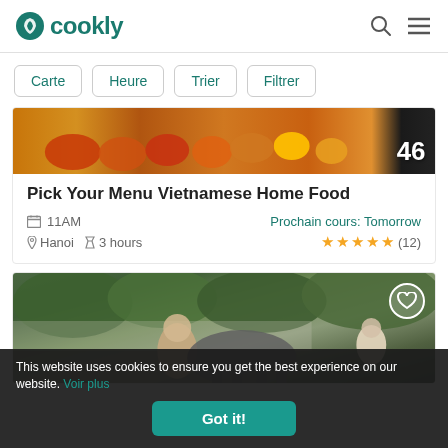cookly
Carte
Heure
Trier
Filtrer
[Figure (photo): Food items including vegetables and tomatoes on a counter, with the number 46 displayed in white text]
Pick Your Menu Vietnamese Home Food
11AM  Prochain cours: Tomorrow
Hanoi  3 hours  ★★★★★ (12)
[Figure (photo): Outdoor scene with people near an elephant, trees and a fence in the background, with a heart icon overlay]
This website uses cookies to ensure you get the best experience on our website. Voir plus
Got it!